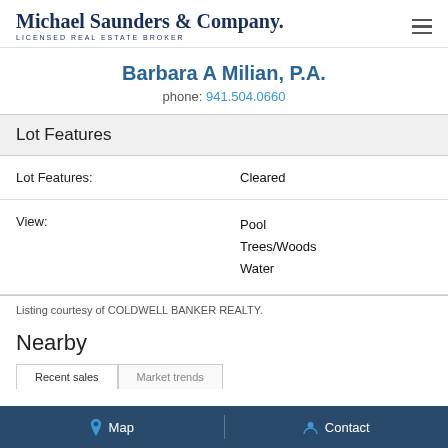Michael Saunders & Company. LICENSED REAL ESTATE BROKER
Barbara A Milian, P.A.
phone: 941.504.0660
Lot Features
|  |  |
| --- | --- |
| Lot Features: | Cleared |
| View: | Pool
Trees/Woods
Water |
Listing courtesy of COLDWELL BANKER REALTY.
Nearby
Recent sales  Market trends
Map  Contact